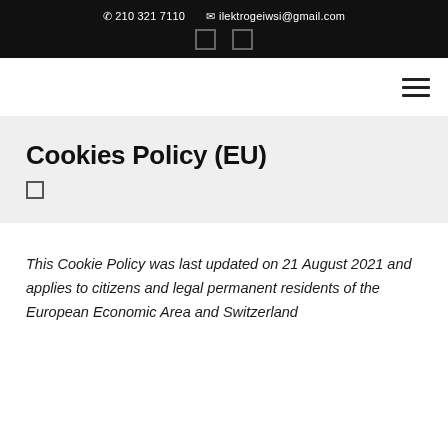📞 210 321 7110   ✉ ilektrogeiwsi@gmail.com
Cookies Policy (EU)
This Cookie Policy was last updated on 21 August 2021 and applies to citizens and legal permanent residents of the European Economic Area and Switzerland